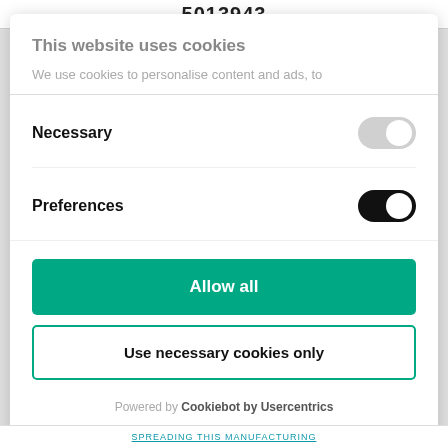5013943
This website uses cookies
We use cookies to personalise content and ads, to
Necessary
Preferences
Allow all
Use necessary cookies only
Powered by Cookiebot by Usercentrics